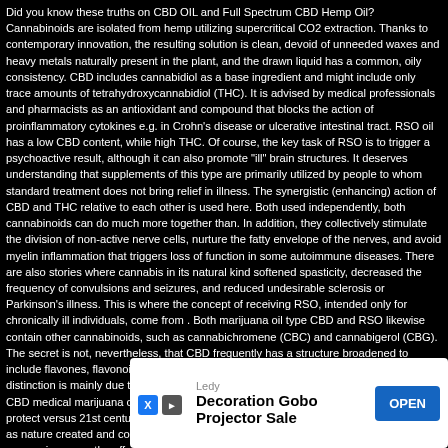Did you know these truths on CBD OIL and Full Spectrum CBD Hemp Oil? Cannabinoids are isolated from hemp utilizing supercritical CO2 extraction. Thanks to contemporary innovation, the resulting solution is clean, devoid of unneeded waxes and heavy metals naturally present in the plant, and the drawn liquid has a common, oily consistency. CBD includes cannabidiol as a base ingredient and might include only trace amounts of tetrahydroxycannabidiol (THC). It is advised by medical professionals and pharmacists as an antioxidant and compound that blocks the action of proinflammatory cytokines e.g. in Crohn's disease or ulcerative intestinal tract. RSO oil has a low CBD content, while high THC. Of course, the key task of RSO is to trigger a psychoactive result, although it can also promote "ill" brain structures. It deserves understanding that supplements of this type are primarily utilized by people to whom standard treatment does not bring relief in illness. The synergistic (enhancing) action of CBD and THC relative to each other is used here. Both used independently, both cannabinoids can do much more together than. In addition, they collectively stimulate the division of non-active nerve cells, nurture the fatty envelope of the nerves, and avoid myelin inflammation that triggers loss of function in some autoimmune diseases. There are also stories where cannabis in its natural kind softened spasticity, decreased the frequency of convulsions and seizures, and reduced undesirable sclerosis or Parkinson's illness. This is where the concept of receiving RSO, intended only for chronically ill individuals, come from . Both marijuana oil type CBD and RSO likewise contain other cannabinoids, such as cannabichromene (CBC) and cannabigerol (CBG). The secret is not, nevertheless, that CBD frequently has a structure broadened to include flavones, flavonoids, terpenes, terpenoids, amino acids and omega acids. The distinction is mainly due to intentions directing humanity to utilize one or the other item. CBD medical marijuana oil is a rather beneficial mix of cannabinoids, developed to protect versus 21st century illness. It's best to utilize all of these compounds together, as nature created and confined in marijuana inflorescences. It ends up that cannabidiol improves the effects of cannabichromene (CBC) and cannabigerol (CBG), and flavonoids enhance the absorption of these substances. Omega acids are present in the body and permit to develop, nourish and boost the...
[Figure (other): Advertisement banner: 'Ledy - Decoration Gobo Projector Sale' with OPEN button, X and play icons, overlaid on the bottom right of the page with a Close X button above it]